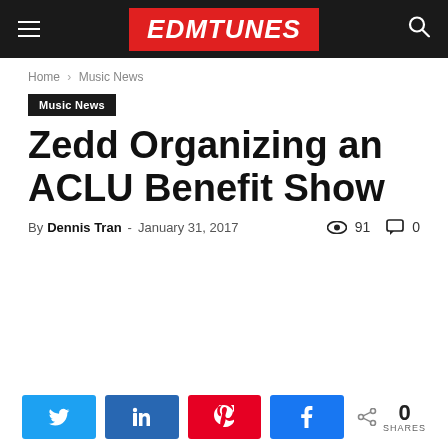EDMTUNES
Home › Music News
Music News
Zedd Organizing an ACLU Benefit Show
By Dennis Tran - January 31, 2017   91   0
[Figure (screenshot): Social share buttons: Twitter, LinkedIn, Pinterest, Facebook and a SHARES count of 0]